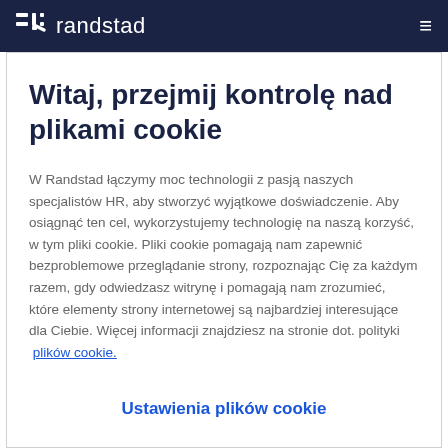randstad
Witaj, przejmij kontrolę nad plikami cookie
W Randstad łączymy moc technologii z pasją naszych specjalistów HR, aby stworzyć wyjątkowe doświadczenie. Aby osiągnąć ten cel, wykorzystujemy technologię na naszą korzyść, w tym pliki cookie. Pliki cookie pomagają nam zapewnić bezproblemowe przeglądanie strony, rozpoznając Cię za każdym razem, gdy odwiedzasz witrynę i pomagają nam zrozumieć, które elementy strony internetowej są najbardziej interesujące dla Ciebie. Więcej informacji znajdziesz na stronie dot. polityki  plików cookie.
Ustawienia plików cookie